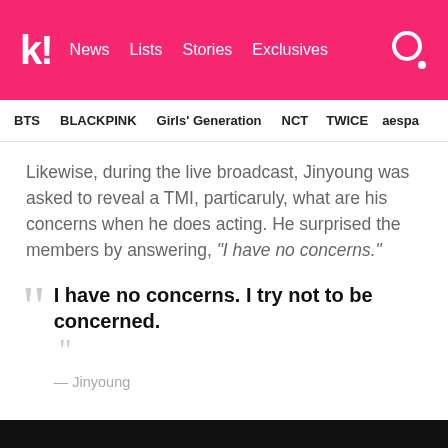Koreaboo — News | Lists | Stories | Exclusives
BTS  BLACKPINK  Girls' Generation  NCT  TWICE  aespa
Likewise, during the live broadcast, Jinyoung was asked to reveal a TMI, particaruly, what are his concerns when he does acting. He surprised the members by answering, “I have no concerns.”
I have no concerns. I try not to be concerned.
— Jinyoung